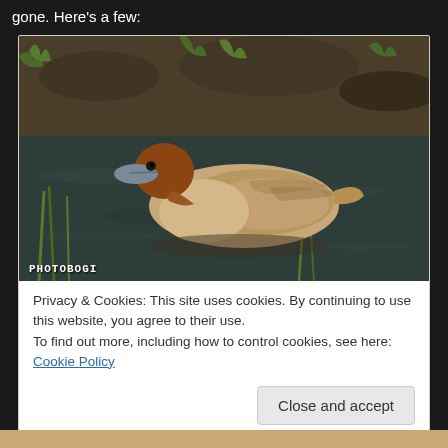gone.  Here's a few:
[Figure (photo): A brown duck swimming in a stream or pond, surrounded by water, mud, and green reeds/grass. The duck has a brown head and pale tan/cream body. A watermark reading 'PHOTOBOGI' appears at the bottom left of the photo.]
Privacy & Cookies: This site uses cookies. By continuing to use this website, you agree to their use.
To find out more, including how to control cookies, see here: Cookie Policy
Close and accept